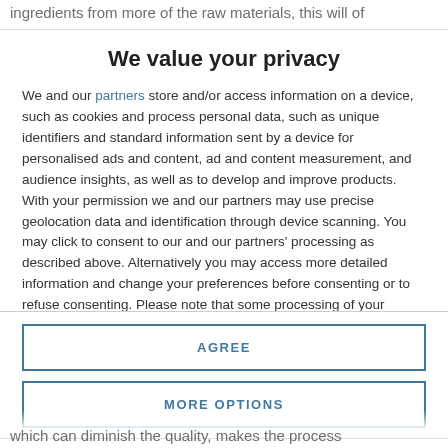ingredients from more of the raw materials, this will of
We value your privacy
We and our partners store and/or access information on a device, such as cookies and process personal data, such as unique identifiers and standard information sent by a device for personalised ads and content, ad and content measurement, and audience insights, as well as to develop and improve products. With your permission we and our partners may use precise geolocation data and identification through device scanning. You may click to consent to our and our partners' processing as described above. Alternatively you may access more detailed information and change your preferences before consenting or to refuse consenting. Please note that some processing of your personal data may not require your consent, but you have a right to
AGREE
MORE OPTIONS
which can diminish the quality, makes the process